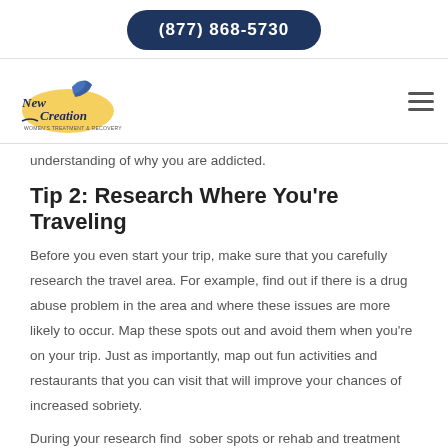(877) 868-5730
[Figure (logo): New Creation Women's Treatment & Recovery logo with butterfly and yellow sun graphic]
understanding of why you are addicted.
Tip 2: Research Where You're Traveling
Before you even start your trip, make sure that you carefully research the travel area. For example, find out if there is a drug abuse problem in the area and where these issues are more likely to occur. Map these spots out and avoid them when you're on your trip. Just as importantly, map out fun activities and restaurants that you can visit that will improve your chances of increased sobriety.
During your research find  sober spots or rehab and treatment